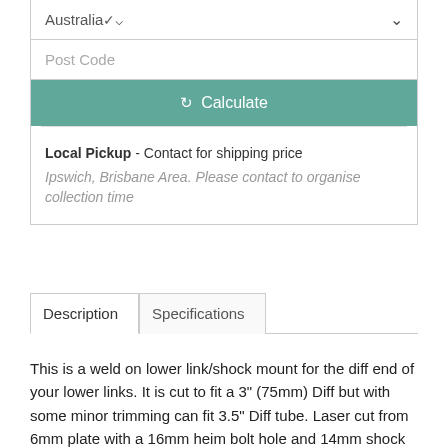Australia
Post Code
Calculate
Local Pickup - Contact for shipping price
Ipswich, Brisbane Area. Please contact to organise collection time
Description
Specifications
This is a weld on lower link/shock mount for the diff end of your lower links. It is cut to fit a 3" (75mm) Diff but with some minor trimming can fit 3.5" Diff tube. Laser cut from 6mm plate with a 16mm heim bolt hole and 14mm shock mount hole.
(DEI-Shock-Mount-75mm)